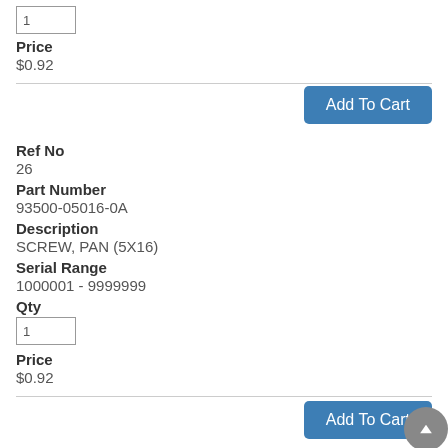1
Price
$0.92
Add To Cart
Ref No
26
Part Number
93500-05016-0A
Description
SCREW, PAN (5X16)
Serial Range
1000001 - 9999999
Qty
1
Price
$0.92
Add To Cart